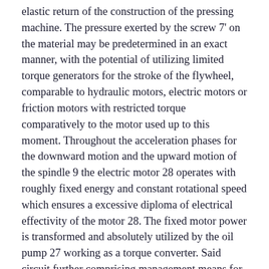elastic return of the construction of the pressing machine. The pressure exerted by the screw 7' on the material may be predetermined in an exact manner, with the potential of utilizing limited torque generators for the stroke of the flywheel, comparable to hydraulic motors, electric motors or friction motors with restricted torque comparatively to the motor used up to this moment. Throughout the acceleration phases for the downward motion and the upward motion of the spindle 9 the electric motor 28 operates with roughly fixed energy and constant rotational speed which ensures a excessive diploma of electrical effectivity of the motor 28. The fixed motor power is transformed and absolutely utilized by the oil pump 27 working as a torque converter. Said circuit further comprising management means for controlling the stress of the hydraulic fluid fed to mentioned motor means and a plurality of pressure stages, one of said stages being controllable as braking strain for stated flywheel, and a refill pump means for returning leaked hydraulic fluid to